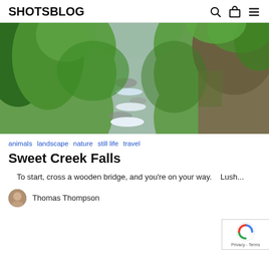SHOTSBLOG
[Figure (photo): A lush green forest scene with a cascading waterfall/stream flowing over rocks, surrounded by dense green trees and rocky cliffs. The water appears white and frothy as it flows downward.]
animals   landscape   nature   still life   travel
Sweet Creek Falls
To start, cross a wooden bridge, and you're on your way.    Lush...
Thomas Thompson